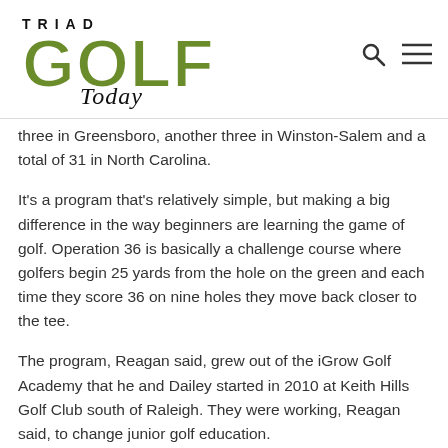[Figure (logo): Triad Golf Today logo with large green GOLF text and italic 'Today' script]
three in Greensboro, another three in Winston-Salem and a total of 31 in North Carolina.
It's a program that's relatively simple, but making a big difference in the way beginners are learning the game of golf. Operation 36 is basically a challenge course where golfers begin 25 yards from the hole on the green and each time they score 36 on nine holes they move back closer to the tee.
The program, Reagan said, grew out of the iGrow Golf Academy that he and Dailey started in 2010 at Keith Hills Golf Club south of Raleigh. They were working, Reagan said, to change junior golf education.